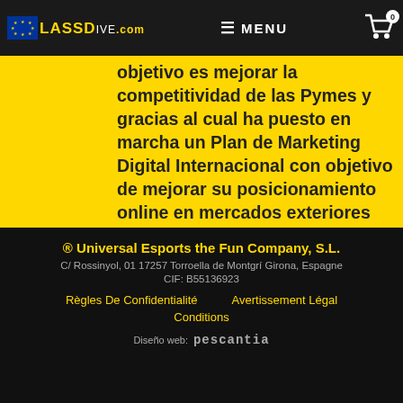[Figure (screenshot): Website header bar with EU flag, LASSDIVE.COM logo, MENU icon, and cart icon with 0 badge]
objetivo es mejorar la competitividad de las Pymes y gracias al cual ha puesto en marcha un Plan de Marketing Digital Internacional con objetivo de mejorar su posicionamiento online en mercados exteriores durante el año 2021. Para ello ha contado con el apoyo del Programa XPANDE DIGITAL de la Cámara de Comercio Cambra de Comerç de Girona
® Universal Esports the Fun Company, S.L.
C/ Rossinyol, 01 17257 Torroella de Montgrí Girona, Espagne
CIF: B55136923
Règles De Confidentialité   Avertissement Légal
Conditions
Diseño web: Descantia